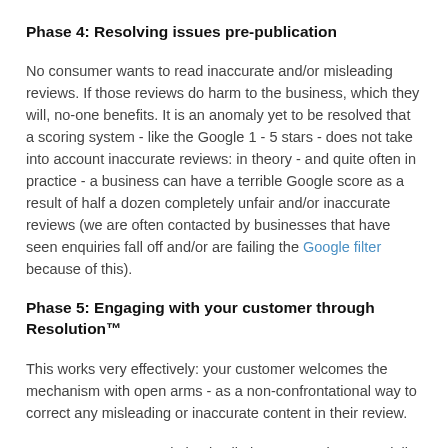Phase 4: Resolving issues pre-publication
No consumer wants to read inaccurate and/or misleading reviews. If those reviews do harm to the business, which they will, no-one benefits. It is an anomaly yet to be resolved that a scoring system - like the Google 1 - 5 stars - does not take into account inaccurate reviews: in theory - and quite often in practice - a business can have a terrible Google score as a result of half a dozen completely unfair and/or inaccurate reviews (we are often contacted by businesses that have seen enquiries fall off and/or are failing the Google filter because of this).
Phase 5: Engaging with your customer through Resolution™
This works very effectively: your customer welcomes the mechanism with open arms - as a non-confrontational way to correct any misleading or inaccurate content in their review.
Important note: Resolution is all about correcting potentially